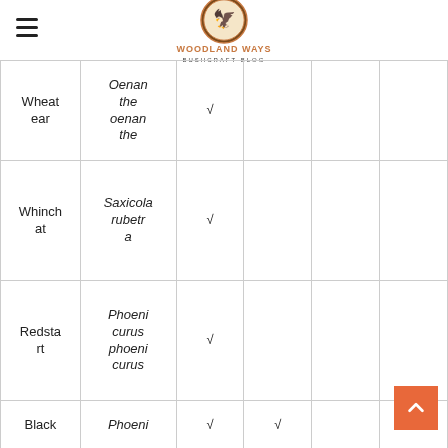Woodland Ways Bushcraft Blog
| Common Name | Scientific Name | Col3 | Col4 | Col5 | Col6 |
| --- | --- | --- | --- | --- | --- |
| Wheatear | Oenanthe oenanthe | √ |  |  |  |
| Whinchat | Saxicola rubetra | √ |  |  |  |
| Redstart | Phoenicurus phoenicurus | √ |  |  |  |
| Black... | Phoeni... | √ | √ |  |  |